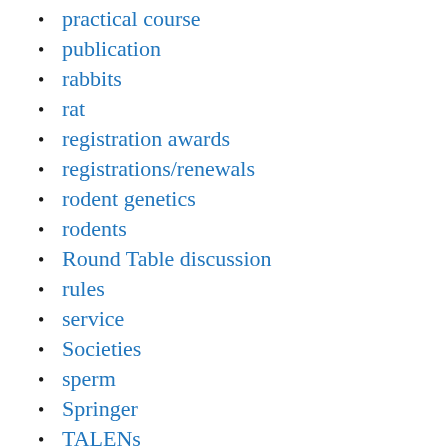practical course
publication
rabbits
rat
registration awards
registrations/renewals
rodent genetics
rodents
Round Table discussion
rules
service
Societies
sperm
Springer
TALENs
targeted nucleases